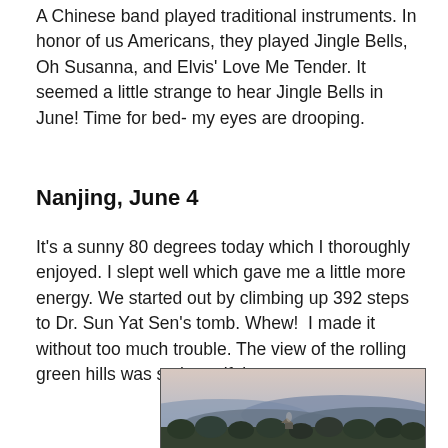A Chinese band played traditional instruments. In honor of us Americans, they played Jingle Bells, Oh Susanna, and Elvis' Love Me Tender. It seemed a little strange to hear Jingle Bells in June! Time for bed- my eyes are drooping.
Nanjing, June 4
It's a sunny 80 degrees today which I thoroughly enjoyed. I slept well which gave me a little more energy. We started out by climbing up 392 steps to Dr. Sun Yat Sen's tomb. Whew!  I made it without too much trouble. The view of the rolling green hills was so beautiful.
[Figure (photo): Landscape photograph showing rolling green hills with trees in the foreground and a hazy sky above, taken from an elevated viewpoint near Dr. Sun Yat Sen's tomb in Nanjing.]